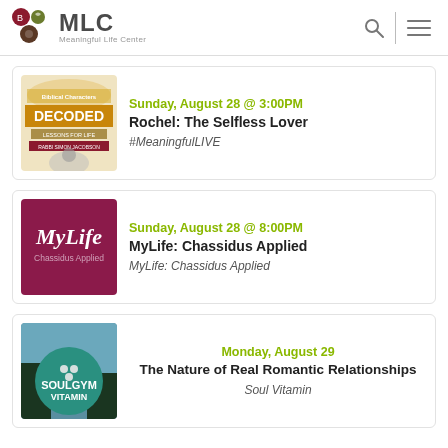MLC Meaningful Life Center
Sunday, August 28 @ 3:00PM
Rochel: The Selfless Lover
#MeaningfulLIVE
Sunday, August 28 @ 8:00PM
MyLife: Chassidus Applied
MyLife: Chassidus Applied
Monday, August 29
The Nature of Real Romantic Relationships
Soul Vitamin